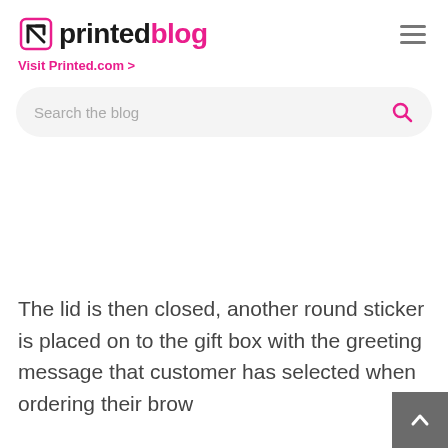printed blog — Visit Printed.com >
Search the blog
The lid is then closed, another round sticker is placed on to the gift box with the greeting message that customer has selected when ordering their brow